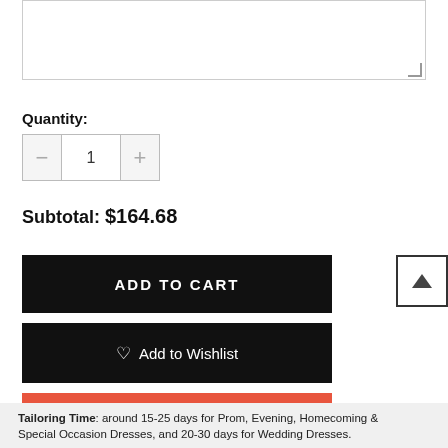[Figure (screenshot): Textarea input box with resize handle in bottom-right corner]
Quantity:
[Figure (other): Quantity stepper control with minus button, value of 1, and plus button]
Subtotal: $164.68
ADD TO CART
♡ Add to Wishlist
BUY IT NOW
[Figure (other): Back to top button with upward chevron arrow]
Tailoring Time: around 15-25 days for Prom, Evening, Homecoming & Special Occasion Dresses, and 20-30 days for Wedding Dresses.